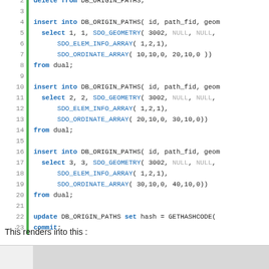[Figure (screenshot): Code editor showing SQL/PL-SQL insert statements for DB_ORIGIN_PATHS table with line numbers 2-24 and a green vertical bar on the left]
This renders into this :
[Figure (screenshot): Diagram rendering showing a horizontal path with nodes labeled 1-50, 2-70, 3-9 with blue arrows and red circles on a gray background]